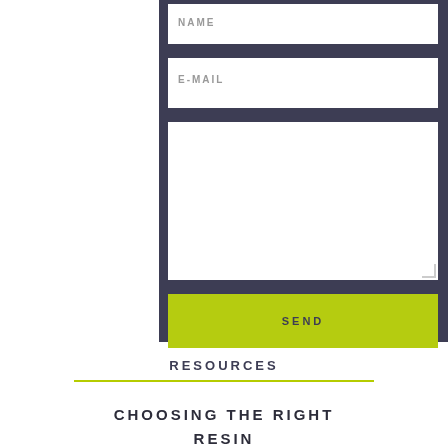[Figure (screenshot): A contact form with dark navy/slate background (#3d3d54) containing three fields: NAME (text input), E-MAIL (text input), a large message textarea, and a yellow-green SEND button.]
RESOURCES
CHOOSING THE RIGHT RESIN